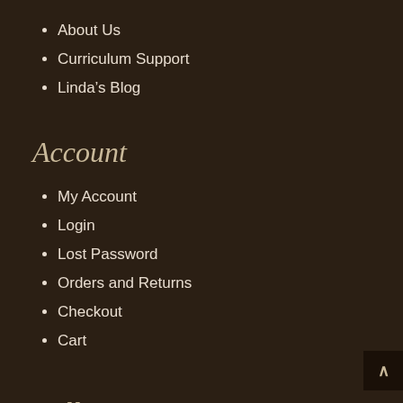About Us
Curriculum Support
Linda's Blog
Account
My Account
Login
Lost Password
Orders and Returns
Checkout
Cart
Follow Us